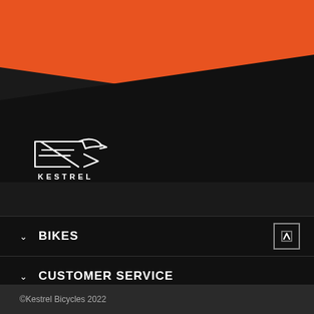[Figure (logo): Kestrel Bicycles logo — stylized bird/wing mark with KESTREL text below, white on dark background]
BIKES
CUSTOMER SERVICE
©Kestrel Bicycles 2022